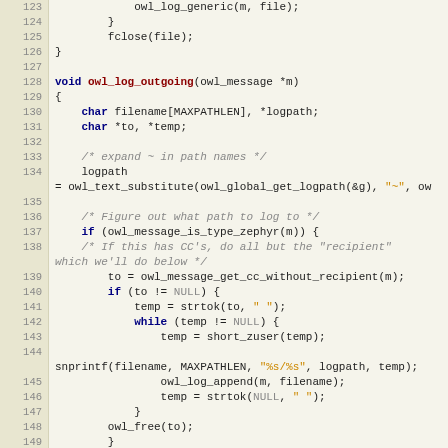Source code listing lines 123-151, C language, showing owl_log_outgoing function